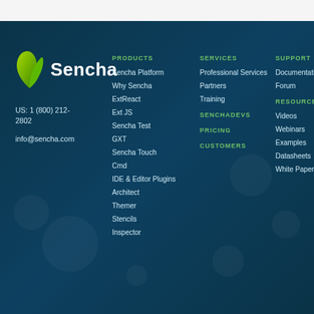[Figure (logo): Sencha logo: green flame/leaf icon with white bold text 'Sencha']
US: 1 (800) 212-2802
info@sencha.com
PRODUCTS
Sencha Platform
Why Sencha
ExtReact
Ext JS
Sencha Test
GXT
Sencha Touch
Cmd
IDE & Editor Plugins
Architect
Themer
Stencils
Inspector
SERVICES
Professional Services
Partners
Training
SENCHADEVS
PRICING
CUSTOMERS
SUPPORT
Documentation
Forum
RESOURCES
Videos
Webinars
Examples
Datasheets
White Papers